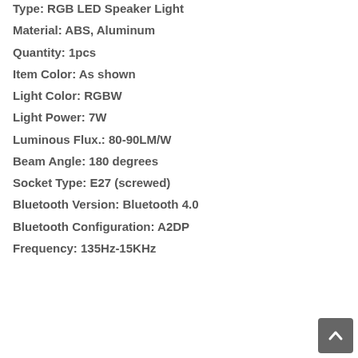Type: RGB LED Speaker Light
Material: ABS, Aluminum
Quantity: 1pcs
Item Color: As shown
Light Color: RGBW
Light Power: 7W
Luminous Flux.: 80-90LM/W
Beam Angle: 180 degrees
Socket Type: E27 (screwed)
Bluetooth Version: Bluetooth 4.0
Bluetooth Configuration: A2DP
Frequency: 135Hz-15KHz